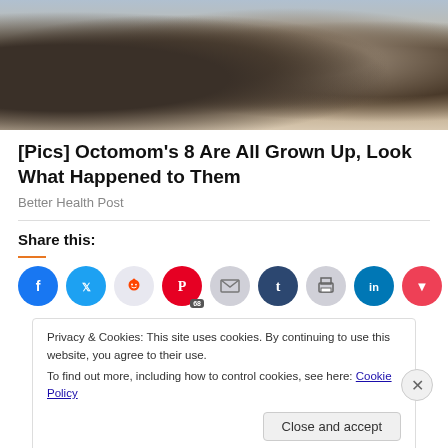[Figure (photo): Multiple newborn babies sleeping close together]
[Pics] Octomom's 8 Are All Grown Up, Look What Happened to Them
Better Health Post
Share this:
[Figure (infographic): Social share buttons: Facebook, Twitter, Reddit (68), Pinterest, Email, Tumblr, Print, LinkedIn, Pocket]
Privacy & Cookies: This site uses cookies. By continuing to use this website, you agree to their use.
To find out more, including how to control cookies, see here: Cookie Policy